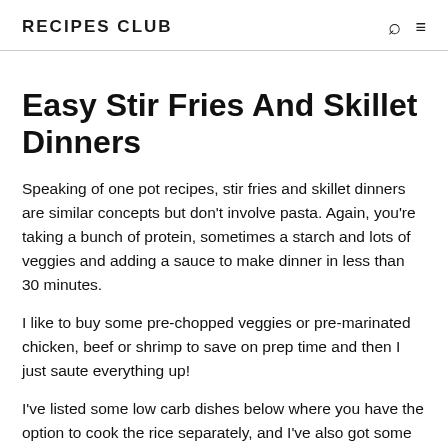RECIPES CLUB
Easy Stir Fries And Skillet Dinners
Speaking of one pot recipes, stir fries and skillet dinners are similar concepts but don't involve pasta. Again, you're taking a bunch of protein, sometimes a starch and lots of veggies and adding a sauce to make dinner in less than 30 minutes.
I like to buy some pre-chopped veggies or pre-marinated chicken, beef or shrimp to save on prep time and then I just saute everything up!
I've listed some low carb dishes below where you have the option to cook the rice separately, and I've also got some chicken teriyaki bowls where the rice cooks alongside the